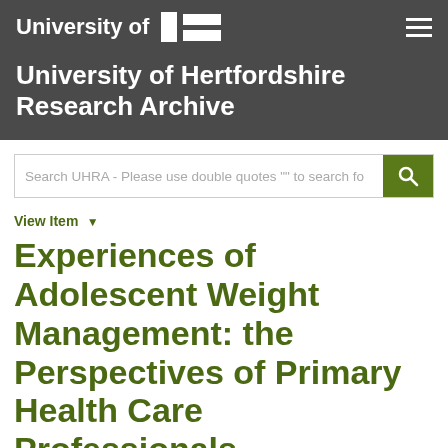University of Hertfordshire Research Archive
Search UHRA - Please use double quotes "" to search fo...
View Item ▾
Experiences of Adolescent Weight Management: the Perspectives of Primary Health Care Professionals, Adolescents and Parents...